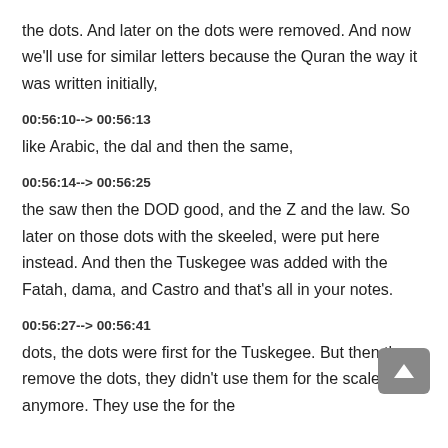the dots. And later on the dots were removed. And now we'll use for similar letters because the Quran the way it was written initially,
00:56:10--> 00:56:13
like Arabic, the dal and then the same,
00:56:14--> 00:56:25
the saw then the DOD good, and the Z and the law. So later on those dots with the skeeled, were put here instead. And then the Tuskegee was added with the Fatah, dama, and Castro and that's all in your notes.
00:56:27--> 00:56:41
dots, the dots were first for the Tuskegee. But then they remove the dots, they didn't use them for the scale anymore. They use the for the